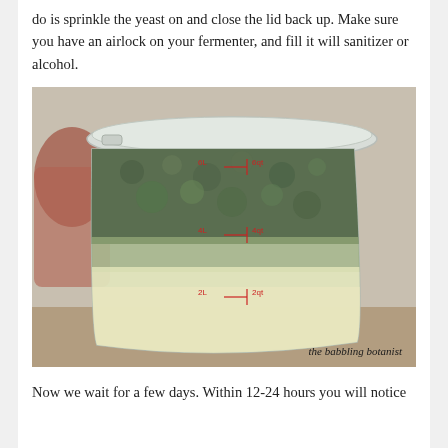do is sprinkle the yeast on and close the lid back up. Make sure you have an airlock on your fermenter, and fill it will sanitizer or alcohol.
[Figure (photo): A translucent plastic fermentation bucket with a lid, containing layers of hops (dark green matter) floating on top of pale yellow liquid. Red measurement markings on the side of the bucket show 6L/6qt, 4L/4qt, and 2L/2qt levels. A watermark reads 'the babbling botanist'.]
Now we wait for a few days. Within 12-24 hours you will notice